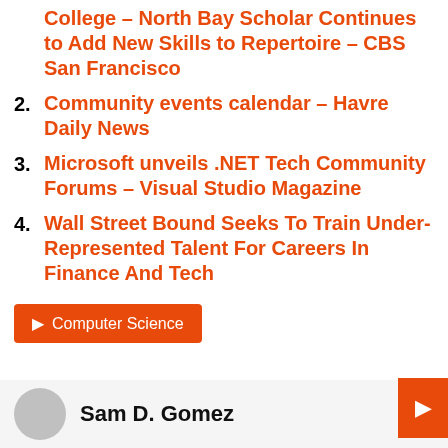College – North Bay Scholar Continues to Add New Skills to Repertoire – CBS San Francisco
2. Community events calendar – Havre Daily News
3. Microsoft unveils .NET Tech Community Forums – Visual Studio Magazine
4. Wall Street Bound Seeks To Train Under-Represented Talent For Careers In Finance And Tech
Computer Science
Sam D. Gomez